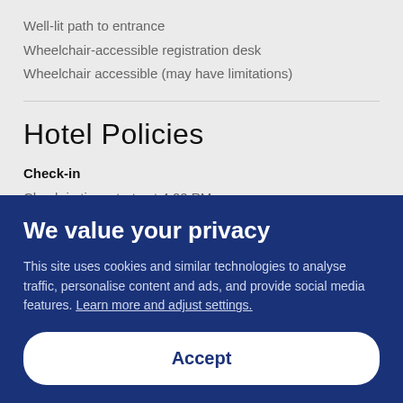Well-lit path to entrance
Wheelchair-accessible registration desk
Wheelchair accessible (may have limitations)
Hotel Policies
Check-in
Check-in time starts at 4:00 PM
Check-in time ends at 9:30 PM
We value your privacy
This site uses cookies and similar technologies to analyse traffic, personalise content and ads, and provide social media features. Learn more and adjust settings.
Accept